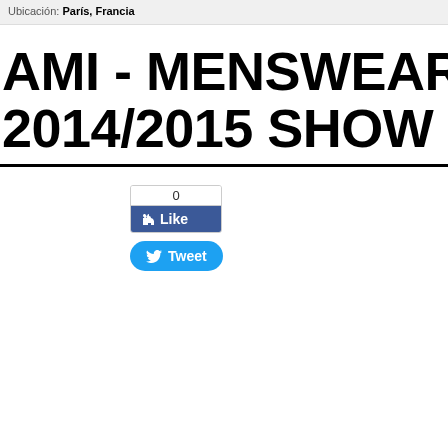Ubicación: París, Francia
AMI - MENSWEAR AUTUMN/WINTER 2014/2015 SHOW IN PARIS (AVE
[Figure (screenshot): Facebook Like button widget showing count 0 and blue Like button, followed by a Twitter Tweet button]
[Figure (screenshot): Twitter Tweet button in blue pill shape]